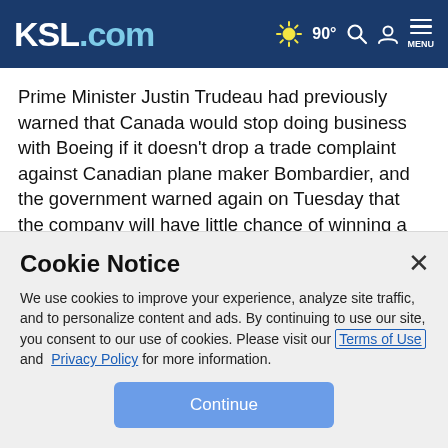KSL.com | 90° | Search | Account | MENU
Prime Minister Justin Trudeau had previously warned that Canada would stop doing business with Boeing if it doesn't drop a trade complaint against Canadian plane maker Bombardier, and the government warned again on Tuesday that the company will have little chance of winning a new contract for 88 additional fighter jets under the status quo.
Cookie Notice
We use cookies to improve your experience, analyze site traffic, and to personalize content and ads. By continuing to use our site, you consent to our use of cookies. Please visit our Terms of Use and Privacy Policy for more information.
Continue